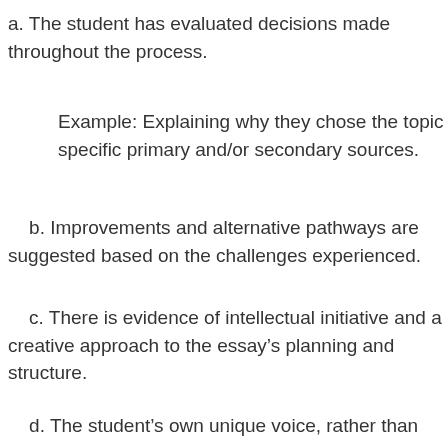a. The student has evaluated decisions made throughout the process.
Example: Explaining why they chose the topic and specific primary and/or secondary sources.
b. Improvements and alternative pathways are suggested based on the challenges experienced.
c. There is evidence of intellectual initiative and a creative approach to the essay's planning and structure.
d. The student's own unique voice, rather than the conventional tone of an essay, is present in the